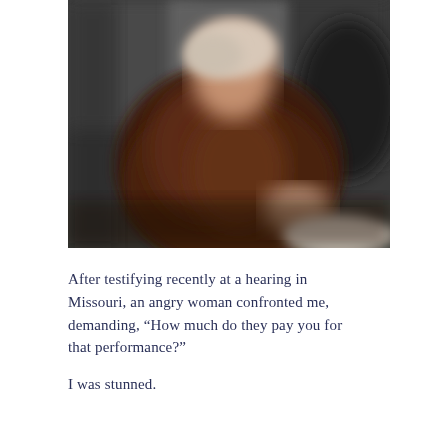[Figure (photo): A blurred photograph of a person wearing a dark brown sweater, seated, with a blurred indoor background. The face is blurred/obscured for privacy.]
After testifying recently at a hearing in Missouri, an angry woman confronted me, demanding, “How much do they pay you for that performance?”
I was stunned.